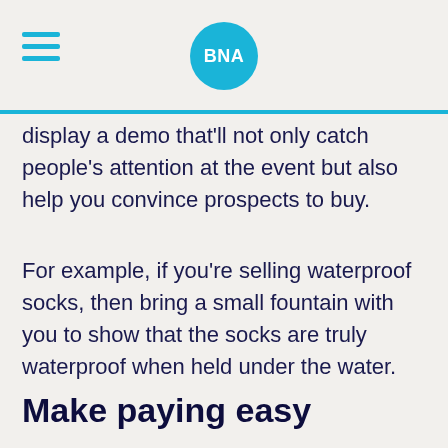BNA
display a demo that'll not only catch people's attention at the event but also help you convince prospects to buy.
For example, if you're selling waterproof socks, then bring a small fountain with you to show that the socks are truly waterproof when held under the water.
Make paying easy